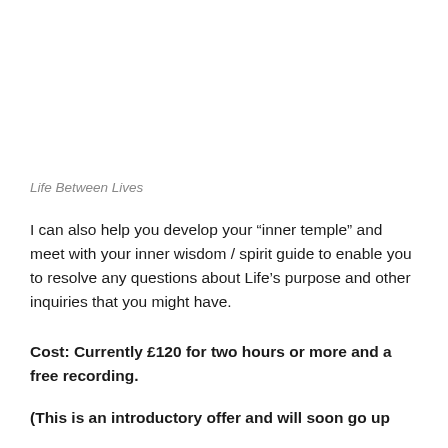Life Between Lives
I can also help you develop your “inner temple”  and meet with your inner wisdom / spirit guide to enable you to resolve any questions about Life’s purpose and other inquiries that you might have.
Cost: Currently £120 for two hours or more and a free recording.
(This is an introductory offer and will soon go up to £180 — the same that life between lives...